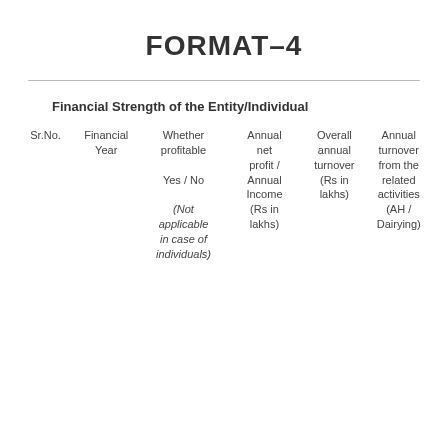FORMAT–4
Financial Strength of the Entity/Individual
| Sr.No. | Financial Year | Whether profitable Yes / No (Not applicable in case of individuals) | Annual net profit / Annual Income (Rs in lakhs) | Overall annual turnover (Rs in lakhs) | Annual turnover from the related activities (AH / Dairying) |
| --- | --- | --- | --- | --- | --- |